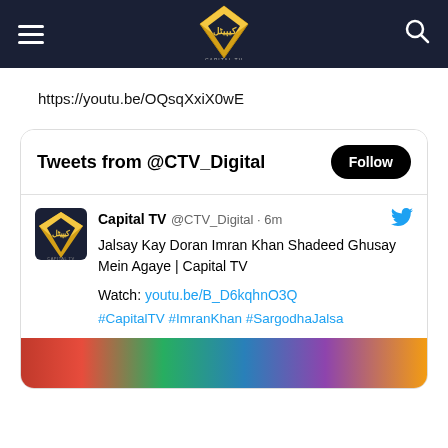Capital TV navigation bar with hamburger menu, Capital TV logo, and search icon
https://youtu.be/OQsqXxiX0wE
Tweets from @CTV_Digital — Follow button
Capital TV @CTV_Digital · 6m
Jalsay Kay Doran Imran Khan Shadeed Ghusay Mein Agaye | Capital TV

Watch: youtu.be/B_D6kqhnO3Q

#CapitalTV #ImranKhan #SargodhaJalsa
[Figure (screenshot): Colorful TV broadcast image strip at bottom of tweet]